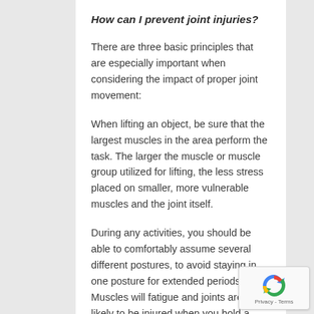How can I prevent joint injuries?
There are three basic principles that are especially important when considering the impact of proper joint movement:
When lifting an object, be sure that the largest muscles in the area perform the task. The larger the muscle or muscle group utilized for lifting, the less stress placed on smaller, more vulnerable muscles and the joint itself.
During any activities, you should be able to comfortably assume several different postures, to avoid staying in one posture for extended periods. Muscles will fatigue and joints are more likely to be injured when you hold a particular posture, especially a poor one, such as staying partially bent forward at